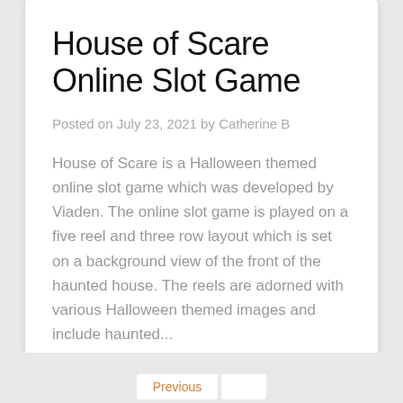House of Scare Online Slot Game
Posted on July 23, 2021 by Catherine B
House of Scare is a Halloween themed online slot game which was developed by Viaden. The online slot game is played on a five reel and three row layout which is set on a background view of the front of the haunted house. The reels are adorned with various Halloween themed images and include haunted...
Casino
Previous